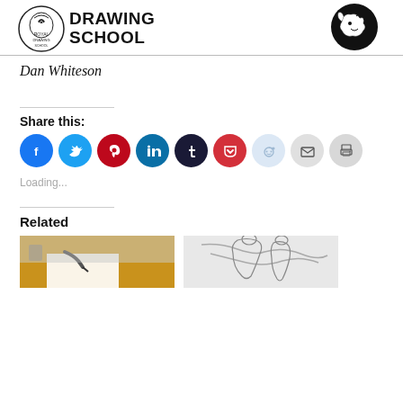[Figure (logo): Royal Drawing School logo (crest + text) and a dragon/creature illustration on the right]
Dan Whiteson
Share this:
[Figure (infographic): Row of social media share icons: Facebook, Twitter, Pinterest, LinkedIn, Tumblr, Pocket, Reddit, Email, Print]
Loading...
Related
[Figure (photo): Two related article thumbnail images side by side: left shows a person drawing on paper on a yellow table, right shows a pencil sketch of figures]